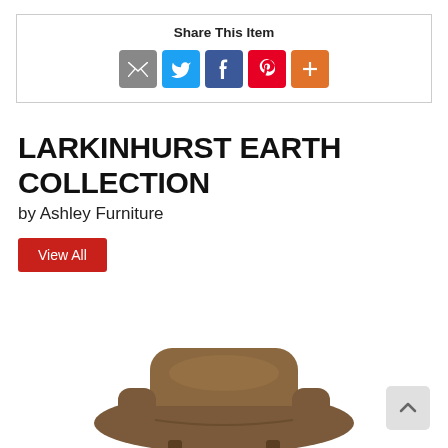Share This Item
[Figure (infographic): Social share buttons: email (grey), Twitter (blue), Facebook (dark blue), Pinterest (red), More (orange)]
LARKINHURST EARTH COLLECTION
by Ashley Furniture
View All
[Figure (photo): Partial view of a brown leather recliner chair from the Larkinhurst Earth collection]